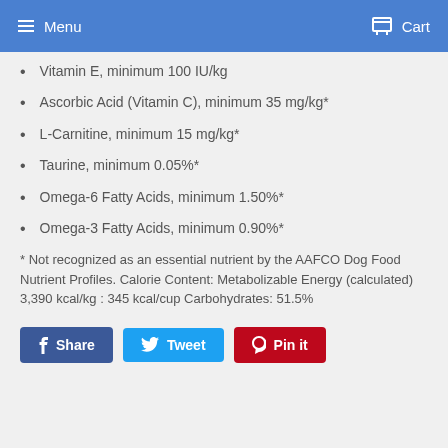Menu  Cart
Vitamin E, minimum 100 IU/kg
Ascorbic Acid (Vitamin C), minimum 35 mg/kg*
L-Carnitine, minimum 15 mg/kg*
Taurine, minimum 0.05%*
Omega-6 Fatty Acids, minimum 1.50%*
Omega-3 Fatty Acids, minimum 0.90%*
* Not recognized as an essential nutrient by the AAFCO Dog Food Nutrient Profiles. Calorie Content: Metabolizable Energy (calculated) 3,390 kcal/kg : 345 kcal/cup Carbohydrates: 51.5%
Share  Tweet  Pin it